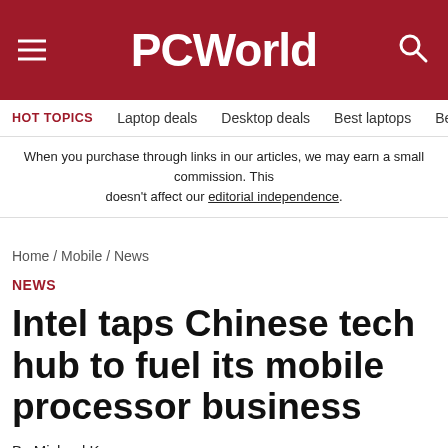PCWorld
HOT TOPICS  Laptop deals  Desktop deals  Best laptops  Best ch
When you purchase through links in our articles, we may earn a small commission. This doesn't affect our editorial independence.
Home / Mobile / News
NEWS
Intel taps Chinese tech hub to fuel its mobile processor business
By Michael Kan
PCWorld  |  APR 1, 2014 9:05 PM PDT